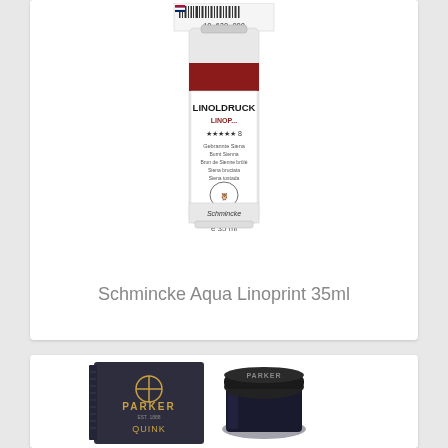[Figure (photo): Schmincke Aqua Linoprint 35ml tube product photo on white background with barcode label at top]
Schmincke Aqua Linoprint 35ml
[Figure (photo): Parker Quink ink bottle and box product photo showing dark navy box with gold Parker logo and glass ink bottle with black lid]